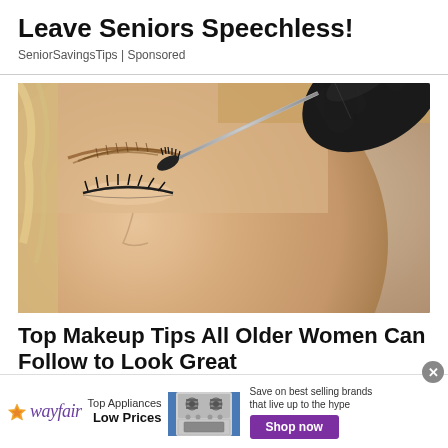Leave Seniors Speechless!
SeniorSavingsTips | Sponsored
[Figure (photo): Close-up photo of a woman with closed eyes having her eyebrow groomed with a spoolie brush held by a gloved hand]
Top Makeup Tips All Older Women Can Follow to Look Great
[Figure (infographic): Wayfair advertisement banner: wayfair logo with star, 'Top Appliances Low Prices', image of a gas range stove, 'Save on best selling brands that live up to the hype', purple 'Shop now' button]